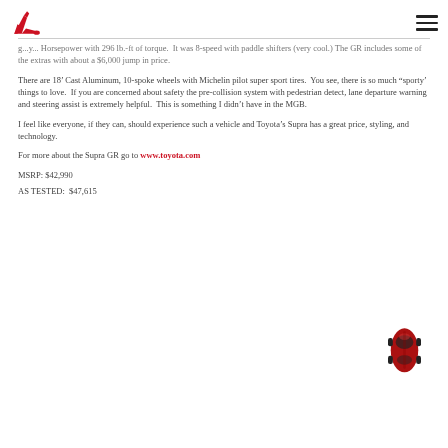[Logo: red high heel] [Hamburger menu icon]
g... y... Horsepower with 296 lb.-ft of torque.  It was 8-speed with paddle shifters (very cool.) The GR includes some of the extras with about a $6,000 jump in price.
There are 18’ Cast Aluminum, 10-spoke wheels with Michelin pilot super sport tires.  You see, there is so much “sporty’ things to love.  If you are concerned about safety the pre-collision system with pedestrian detect, lane departure warning and steering assist is extremely helpful.  This is something I didn’t have in the MGB.
I feel like everyone, if they can, should experience such a vehicle and Toyota’s Supra has a great price, styling, and technology.
For more about the Supra GR go to www.toyota.com
MSRP: $42,990
AS TESTED:  $47,615
[Figure (illustration): Top-down view of a red Toyota Supra GR sports car]